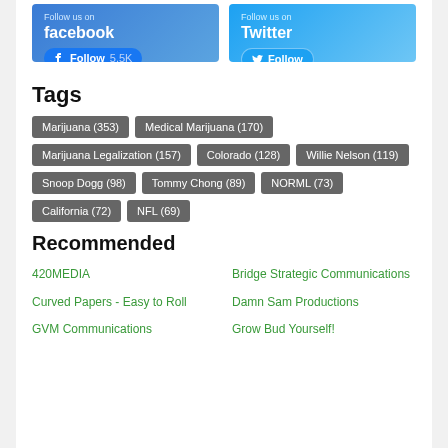[Figure (other): Facebook Follow Us banner with Follow button showing 5.5K followers]
[Figure (other): Twitter Follow Us banner with Follow button]
Tags
Marijuana (353)
Medical Marijuana (170)
Marijuana Legalization (157)
Colorado (128)
Willie Nelson (119)
Snoop Dogg (98)
Tommy Chong (89)
NORML (73)
California (72)
NFL (69)
Recommended
420MEDIA
Bridge Strategic Communications
Curved Papers - Easy to Roll
Damn Sam Productions
GVM Communications
Grow Bud Yourself!